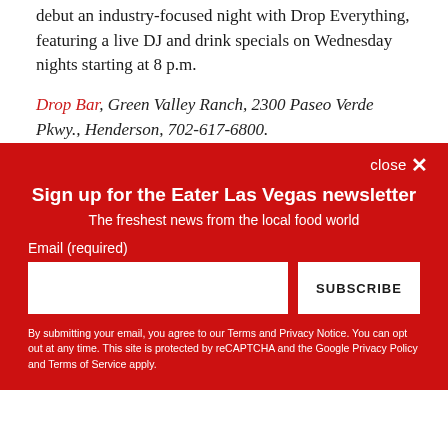debut an industry-focused night with Drop Everything, featuring a live DJ and drink specials on Wednesday nights starting at 8 p.m.
Drop Bar, Green Valley Ranch, 2300 Paseo Verde Pkwy., Henderson, 702-617-6800.
close ×
Sign up for the Eater Las Vegas newsletter
The freshest news from the local food world
Email (required)
SUBSCRIBE
By submitting your email, you agree to our Terms and Privacy Notice. You can opt out at any time. This site is protected by reCAPTCHA and the Google Privacy Policy and Terms of Service apply.